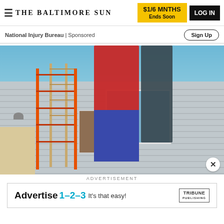THE BALTIMORE SUN | $1/6 MNTHS Ends Soon | LOG IN
National Injury Bureau | Sponsored
Sign Up
[Figure (photo): Workers installing or repairing something on the exterior of a house. An orange ladder is visible, one person in a red shirt and blue jeans reaches up to the roofline, another person in dark clothing stands beside them. A neighboring house and satellite dish are visible to the left.]
ADVERTISEMENT
[Figure (other): Tribune Publishing advertisement banner reading: Advertise 1-2-3 It's that easy! with Tribune Publishing logo]